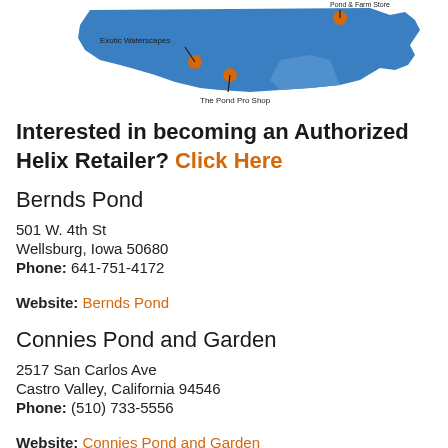[Figure (map): Partial view of a US map showing retailer locations. Blue states highlighted. Labels visible: 'Exotic Waterscapes', 'The Pond Pro Shop', and a partially visible label top-right.]
Interested in becoming an Authorized Helix Retailer? Click Here
Bernds Pond
501 W. 4th St
Wellsburg, Iowa 50680
Phone: 641-751-4172
Website: Bernds Pond
Connies Pond and Garden
2517 San Carlos Ave
Castro Valley, California 94546
Phone: (510) 733-5556
Website: Connies Pond and Garden
Exotic Waterscapes